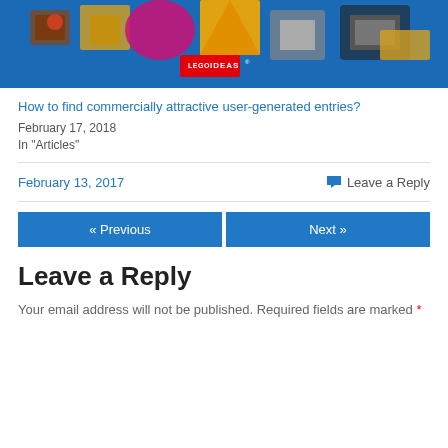[Figure (photo): LEGO Ideas promotional image with colorful LEGO pieces on blue background, LEGO IDEAS logo badge visible]
How to find commercially attractive user-generated entries?
February 17, 2018
In "Articles"
February 13, 2017
Leave a Reply
« Previous
Next »
Leave a Reply
Your email address will not be published. Required fields are marked *